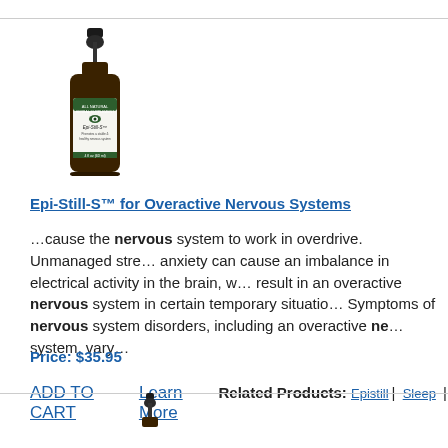[Figure (photo): Brown dropper bottle labeled Epi-Still-S with green and white label, All Natural Herbal Supplement]
Epi-Still-S™ for Overactive Nervous Systems
…cause the nervous system to work in overdrive. Unmanaged stress and anxiety can cause an imbalance in electrical activity in the brain, which can result in an overactive nervous system in certain temporary situations. Symptoms of nervous system disorders, including an overactive nervous system, vary…
Price: $35.95
ADD TO CART   Learn More   Related Products: Epistill | Sleep |